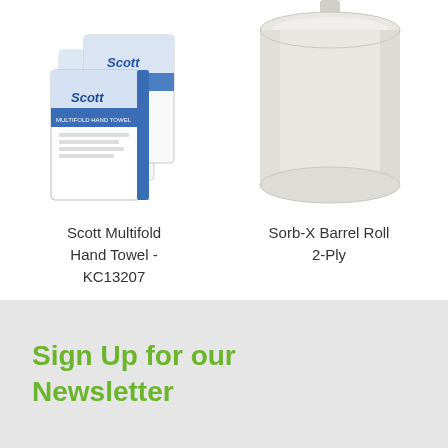[Figure (photo): Scott Multifold Hand Towel product packaging - stacked white and blue paper towel packs with Scott branding]
[Figure (photo): Sorb-X Barrel Roll 2-Ply - a large white cylindrical paper roll standing upright]
Scott Multifold Hand Towel - KC13207
Sorb-X Barrel Roll 2-Ply
Sign Up for our Newsletter